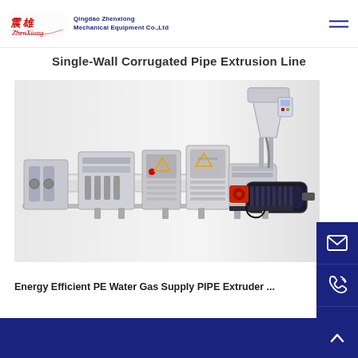Qingdao Zhenxiong Mechanical Equipment Co.,Ltd
Single-Wall Corrugated Pipe Extrusion Line
[Figure (photo): Industrial single-wall corrugated pipe extrusion line machine, showing a long production line with extruder unit, control cabinets, hopper/feeder, and drive motor on a white background.]
Energy Efficient PE Water Gas Supply PIPE Extruder ...